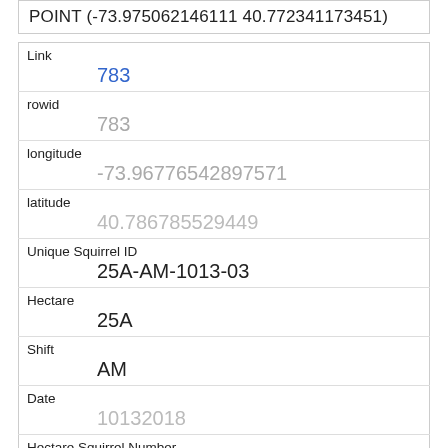POINT (-73.975062146111 40.772341173451)
| Field | Value |
| --- | --- |
| Link | 783 |
| rowid | 783 |
| longitude | -73.96776542897571 |
| latitude | 40.786785529449 |
| Unique Squirrel ID | 25A-AM-1013-03 |
| Hectare | 25A |
| Shift | AM |
| Date | 10132018 |
| Hectare Squirrel Number | 3 |
| Age |  |